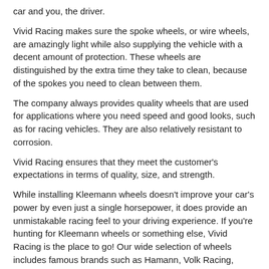car and you, the driver.
Vivid Racing makes sure the spoke wheels, or wire wheels, are amazingly light while also supplying the vehicle with a decent amount of protection. These wheels are distinguished by the extra time they take to clean, because of the spokes you need to clean between them.
The company always provides quality wheels that are used for applications where you need speed and good looks, such as for racing vehicles. They are also relatively resistant to corrosion.
Vivid Racing ensures that they meet the customer's expectations in terms of quality, size, and strength.
While installing Kleemann wheels doesn't improve your car's power by even just a single horsepower, it does provide an unmistakable racing feel to your driving experience. If you're hunting for Kleemann wheels or something else, Vivid Racing is the place to go! Our wide selection of wheels includes famous brands such as Hamann, Volk Racing, Enkei and much more!
If you don't see what you're looking for, please contact Vivid Racing at 1-480-966-3040.